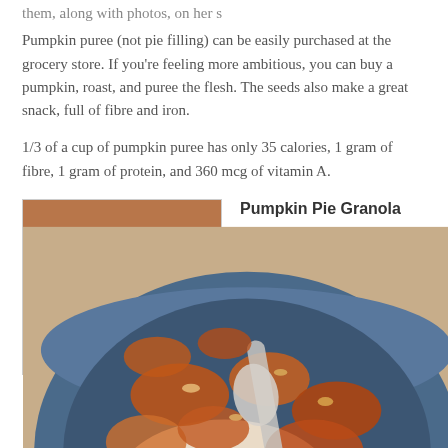them, along with photos, on her s
Pumpkin puree (not pie filling) can be easily purchased at the grocery store. If you're feeling more ambitious, you can buy a pumpkin, roast, and puree the flesh. The seeds also make a great snack, full of fibre and iron.
1/3 of a cup of pumpkin puree has only 35 calories, 1 gram of fibre, 1 gram of protein, and 360 mcg of vitamin A.
[Figure (photo): A blue bowl filled with pumpkin pie granola served with what appears to be yogurt or cream, photographed from above with a spoon visible]
Pumpkin Pie Granola
Ingredients:
2 1/4 cups old fashioned rolled oats